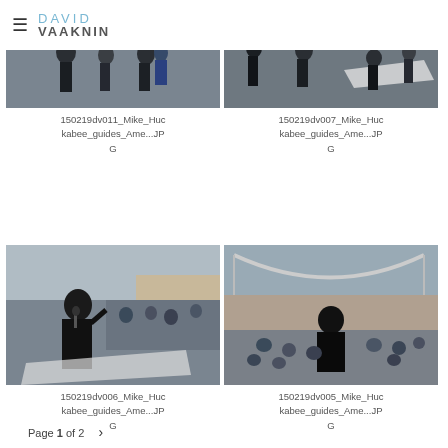≡ DAVID VAAKNIN
[Figure (photo): Photo of Mike Huckabee event, outdoor gathering, people standing]
150219dv011_Mike_Huckabee_guides_Ame...JPG
[Figure (photo): Photo of Mike Huckabee event, outdoor gathering, people with banner]
150219dv007_Mike_Huckabee_guides_Ame...JPG
[Figure (photo): Photo of Mike Huckabee speaking into microphone, outdoor ruins setting, crowd behind]
150219dv006_Mike_Huckabee_guides_Ame...JPG
[Figure (photo): Photo of Mike Huckabee from behind speaking to seated crowd at outdoor ruins]
150219dv005_Mike_Huckabee_guides_Ame...JPG
Page 1 of 2 >